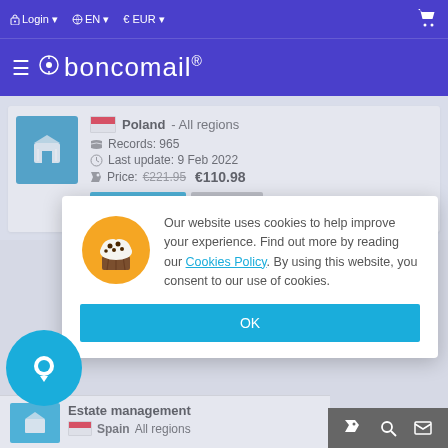Login | EN | EUR | (cart icon)
boncomail®
Poland - All regions
Records: 965
Last update: 9 Feb 2022
Price: €221.95  €110.98
Purchase | Details
Our website uses cookies to help improve your experience. Find out more by reading our Cookies Policy. By using this website, you consent to our use of cookies.
OK
Estate management
Spain All regions